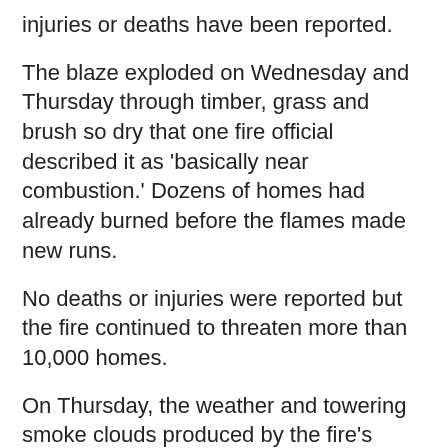injuries or deaths have been reported.
The blaze exploded on Wednesday and Thursday through timber, grass and brush so dry that one fire official described it as 'basically near combustion.' Dozens of homes had already burned before the flames made new runs.
No deaths or injuries were reported but the fire continued to threaten more than 10,000 homes.
On Thursday, the weather and towering smoke clouds produced by the fire's intense, erratic winds kept firefighters struggling to put firefighters at shifting hot spots, AP reported.
'It's wreaking havoc. The winds are kind of changing direction on us every few hours,' fire spokesman Captain Sergio Arellano said.